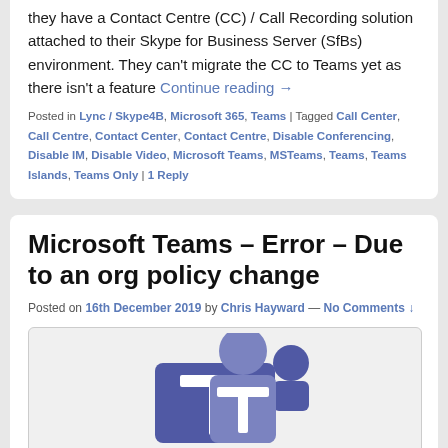they have a Contact Centre (CC) / Call Recording solution attached to their Skype for Business Server (SfBs) environment. They can't migrate the CC to Teams yet as there isn't a feature Continue reading →
Posted in Lync / Skype4B, Microsoft 365, Teams | Tagged Call Center, Call Centre, Contact Center, Contact Centre, Disable Conferencing, Disable IM, Disable Video, Microsoft Teams, MSTeams, Teams, Teams Islands, Teams Only | 1 Reply
Microsoft Teams – Error – Due to an org policy change
Posted on 16th December 2019 by Chris Hayward — No Comments ↓
[Figure (illustration): Microsoft Teams logo illustration with purple/blue figures and T symbol]